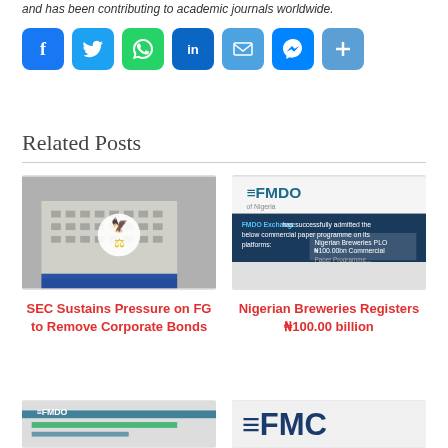and has been contributing to academic journals worldwide.
[Figure (infographic): Social media sharing buttons: Facebook, Twitter, WhatsApp, LinkedIn, Email, Messenger, Share]
Related Posts
[Figure (photo): SEC building with logo]
[Figure (screenshot): FMDO Exchange admission of commercial paper programs screenshot]
SEC Sustains Pressure on FG to Remove Corporate Bonds
Nigerian Breweries Registers ₦100.00 billion
[Figure (photo): FMDO logo partial image bottom left]
[Figure (logo): FMC logo partial image bottom right]